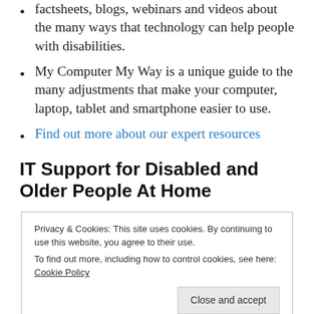factsheets, blogs, webinars and videos about the many ways that technology can help people with disabilities.
My Computer My Way is a unique guide to the many adjustments that make your computer, laptop, tablet and smartphone easier to use.
Find out more about our expert resources
IT Support for Disabled and Older People At Home
Privacy & Cookies: This site uses cookies. By continuing to use this website, you agree to their use. To find out more, including how to control cookies, see here: Cookie Policy
free Helpline on 0800 269 545 to ask